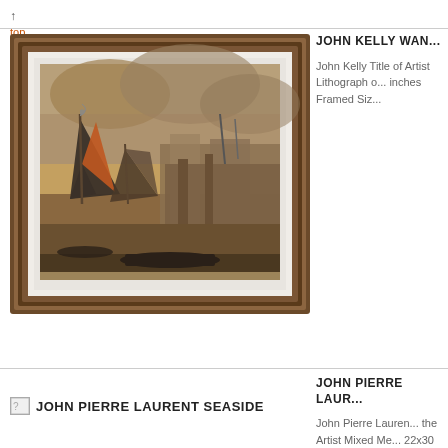↑ top
[Figure (photo): Framed lithograph artwork showing sailboats (junks) with large sails on a harbor with industrial buildings and smokestacks in the background, rendered in sepia/brown tones. Artwork displayed in a dark brown ornate frame with white matting.]
JOHN KELLY WAN...
John Kelly Title of Artist Lithograph o... inches Framed Siz...
[Figure (other): Broken image placeholder icon for JOHN PIERRE LAURENT SEASIDE]
JOHN PIERRE LAURENT SEASIDE
JOHN PIERRE LAUR...
John Pierre Lauren... the Artist Mixed Me... 22x30 inches Fra...